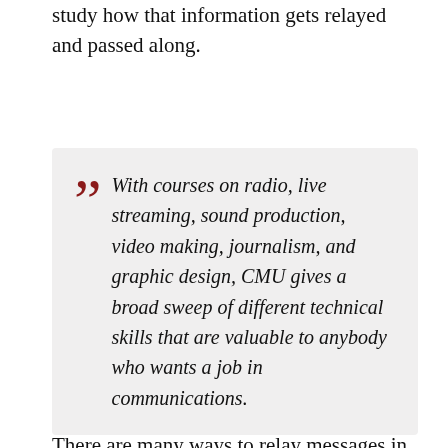study how that information gets relayed and passed along.
With courses on radio, live streaming, sound production, video making, journalism, and graphic design, CMU gives a broad sweep of different technical skills that are valuable to anybody who wants a job in communications.
There are many ways to relay messages in today’s age, and CMU does a fantastic job of introducing students to many of those forms. With courses on radio, live streaming, sound production, video making, journalism, and graphic design, CMU gives a broad sweep of